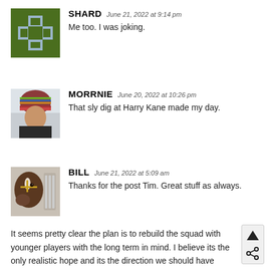[Figure (photo): SHARD user avatar: green pixel-art shield/cross icon on dark green background]
SHARD  June 21, 2022 at 9:14 pm
Me too. I was joking.
[Figure (photo): MORRNIE user avatar: photo of person wearing colorful knit hat]
MORRNIE  June 20, 2022 at 10:26 pm
That sly dig at Harry Kane made my day.
[Figure (photo): BILL user avatar: photo of a horse wearing a halter]
BILL  June 21, 2022 at 5:09 am
Thanks for the post Tim. Great stuff as always.
It seems pretty clear the plan is to rebuild the squad with younger players with the long term in mind. I believe its the only realistic hope and its the direction we should have gone after Arsene's last season. Its easy